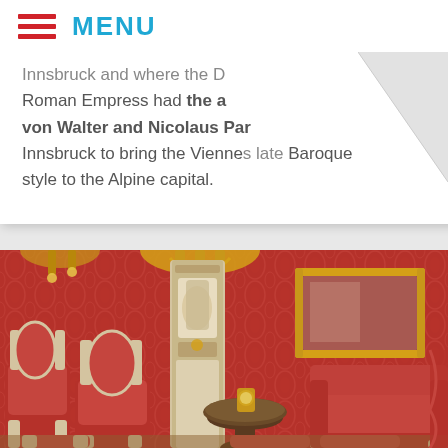MENU
Innsbruck and where the Roman Empress had the a von Walter and Nicolaus Par Innsbruck to bring the Viennese late Baroque style to the Alpine capital.
[Figure (photo): Interior of a Baroque-style room with red damask walls, gilded mirror, ornate ceramic stove, red upholstered chairs and sofa, round table with golden clock, and gold chandelier.]